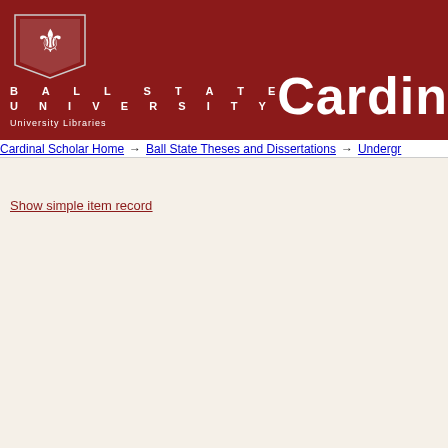[Figure (logo): Ball State University shield logo with eagle in white on dark red background]
Ball State University
University Libraries
Cardin
Cardinal Scholar Home → Ball State Theses and Dissertations → Undergr
Show simple item record
| Field | Value |
| --- | --- |
| dc.contributor.advisor | Sun, Xin (Professor of Computer Science) |
| dc.contributor.author | Van Ness, Madeline |
| dc.date.accessioned | 2019-09-26T20:19:19Z |
| dc.date.available | 2019-09-26T20:19:19Z |
| dc.date.issued | 2019-05-04 |
| dc.identifier.uri | http://cardinalscholar.bsu.edu/handle/1234- |
| dc.description.abstract | This paper proposes new models for simpli in enterprise networks. The application of th operational network/s has demonstrated th |